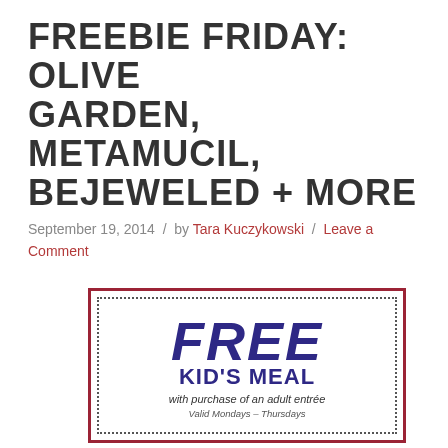FREEBIE FRIDAY: OLIVE GARDEN, METAMUCIL, BEJEWELED + MORE
September 19, 2014  /  by Tara Kuczykowski  /  Leave a Comment
[Figure (other): Olive Garden coupon for a FREE KID'S MEAL with purchase of an adult entrée. Valid Mondays – Thursdays.]